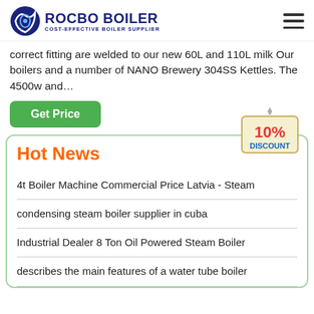ROCBO BOILER - COST-EFFECTIVE BOILER SUPPLIER
correct fitting are welded to our new 60L and 110L milk Our boilers and a number of NANO Brewery 304SS Kettles. The 4500w and…
Get Price
Hot News
4t Boiler Machine Commercial Price Latvia - Steam
condensing steam boiler supplier in cuba
Industrial Dealer 8 Ton Oil Powered Steam Boiler
describes the main features of a water tube boiler